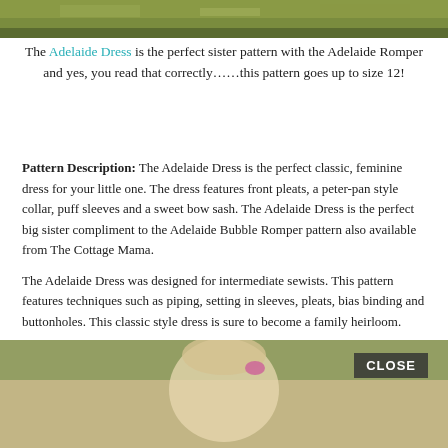[Figure (photo): Top partial photo of outdoor scene with green grass/ground, cropped at top of page]
The Adelaide Dress is the perfect sister pattern with the Adelaide Romper and yes, you read that correctly……this pattern goes up to size 12!
Pattern Description: The Adelaide Dress is the perfect classic, feminine dress for your little one. The dress features front pleats, a peter-pan style collar, puff sleeves and a sweet bow sash. The Adelaide Dress is the perfect big sister compliment to the Adelaide Bubble Romper pattern also available from The Cottage Mama.
The Adelaide Dress was designed for intermediate sewists. This pattern features techniques such as piping, setting in sleeves, pleats, bias binding and buttonholes. This classic style dress is sure to become a family heirloom.
Dress Pattern includes size 6 Month through 12 Years.
[Figure (photo): Bottom photo showing a blonde child with a pink hair accessory, outdoor blurred background, with a CLOSE button overlay]